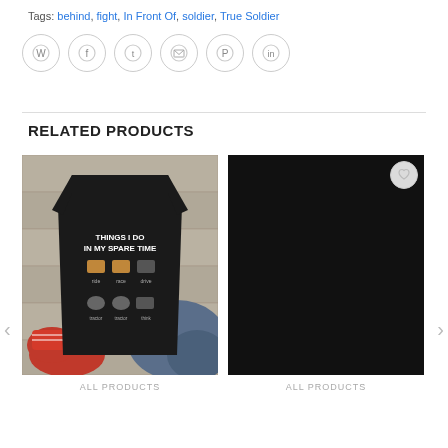Tags: behind, fight, In Front Of, soldier, True Soldier
[Figure (other): Row of social sharing icon buttons: WhatsApp, Facebook, Twitter, Email, Pinterest, LinkedIn — circular outlined icons]
RELATED PRODUCTS
[Figure (photo): Black t-shirt with 'THINGS I DO IN MY SPARE TIME' graphic showing farming/tractor icons, displayed folded with red sneakers and jeans]
ALL PRODUCTS
[Figure (photo): Black t-shirt with Halloween graphic: 'YOU CAN'T SCARE ME I'M A RETIRED TEACHER I'VE SEEN IT ALL!' with orange moon and zombie hand design]
ALL PRODUCTS